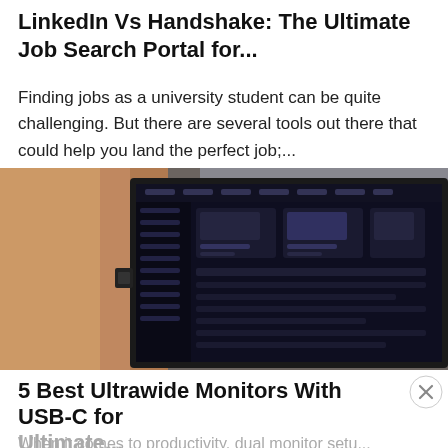LinkedIn Vs Handshake: The Ultimate Job Search Portal for…
Finding jobs as a university student can be quite challenging. But there are several tools out there that could help you land the perfect job;…
[Figure (photo): A dark ultrawide monitor displaying a software interface, viewed from a slight angle, against a blurred background with a wooden surface visible on the left.]
5 Best Ultrawide Monitors With USB-C for Ultimate…
When it comes to productivity, dual monitor setups…